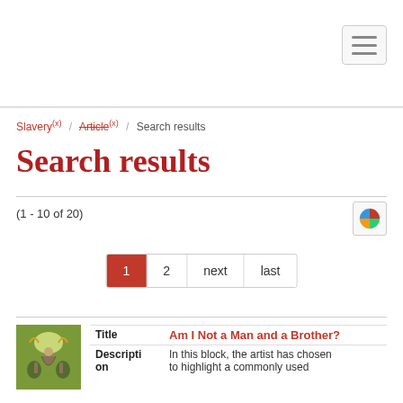Navigation header with hamburger menu
Slavery (x) / Article (x) / Search results
Search results
(1 - 10 of 20)
1 2 next last
| Title | Am I Not a Man and a Brother? |
| --- | --- |
| Description | In this block, the artist has chosen to highlight a commonly used |